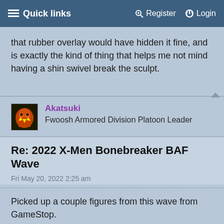≡ Quick links   🔑 Register   ⏻ Login
that rubber overlay would have hidden it fine, and is exactly the kind of thing that helps me not mind having a shin swivel break the sculpt.
Akatsuki
Fwoosh Armored Division Platoon Leader
Re: 2022 X-Men Bonebreaker BAF Wave
Fri May 20, 2022 2:25 am
Picked up a couple figures from this wave from GameStop.
Wolverine— I had to get him after seeing Norm's New